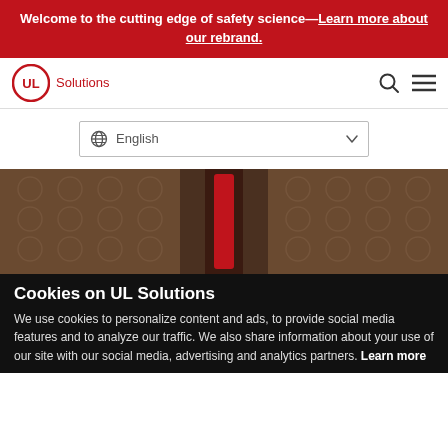Welcome to the cutting edge of safety science—Learn more about our rebrand.
[Figure (logo): UL Solutions logo with circular UL mark and 'Solutions' text in red]
English (language selector dropdown)
[Figure (photo): Close-up photo of what appears to be electrical or safety testing equipment with a red element in the center]
Cookies on UL Solutions
We use cookies to personalize content and ads, to provide social media features and to analyze our traffic. We also share information about your use of our site with our social media, advertising and analytics partners. Learn more